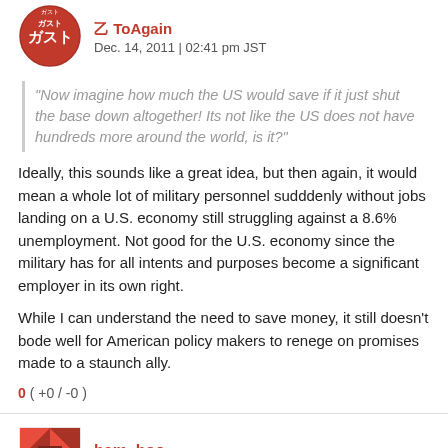[Figure (other): User avatar for Gusto - red circular badge with Japanese text ガスト]
Dec. 14, 2011 | 02:41 pm JST
"Now imagine how much the US would save if it just shut the base down altogether! Its not like the US does not have hundreds more around the world, is it?"
Ideally, this sounds like a great idea, but then again, it would mean a whole lot of military personnel sudddenly without jobs landing on a U.S. economy still struggling against a 8.6% unemployment. Not good for the U.S. economy since the military has for all intents and purposes become a significant employer in its own right.
While I can understand the need to save money, it still doesn't bode well for American policy makers to renege on promises made to a staunch ally.
0 ( +0 / -0 )
[Figure (other): User avatar for bam_boo - geometric quilt pattern in red and white]
bam_boo
Dec. 14, 2011 | 09:20 pm JST
Riffraff,
The Okinawans have always been content to let that